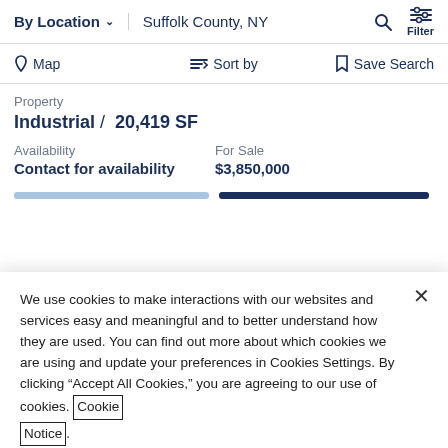By Location  ∨  Suffolk County, NY  Filter
Map  Sort by  Save Search
Property
Industrial /  20,419 SF
Availability
Contact for availability
For Sale
$3,850,000
We use cookies to make interactions with our websites and services easy and meaningful and to better understand how they are used. You can find out more about which cookies we are using and update your preferences in Cookies Settings. By clicking "Accept All Cookies," you are agreeing to our use of cookies. Cookie Notice.
Cookies Settings
Accept All Cookies